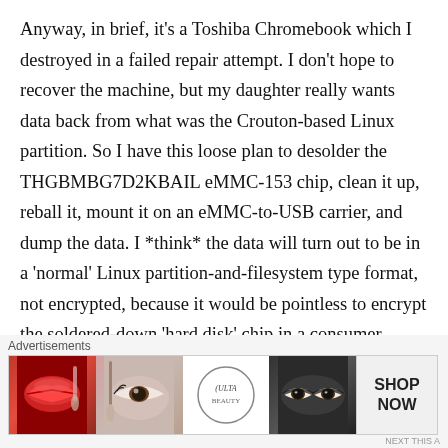Anyway, in brief, it's a Toshiba Chromebook which I destroyed in a failed repair attempt. I don't hope to recover the machine, but my daughter really wants data back from what was the Crouton-based Linux partition. So I have this loose plan to desolder the THGBMBG7D2KBAIL eMMC-153 chip, clean it up, reball it, mount it on an eMMC-to-USB carrier, and dump the data. I *think* the data will turn out to be in a 'normal' Linux partition-and-filesystem type format, not encrypted, because it would be pointless to encrypt the soldered-down 'hard disk' chip in a consumer device with a low-end CPU.
Advertisements
[Figure (photo): Advertisement banner for ULTA beauty products showing lips with lipstick, makeup brush, eye with dramatic makeup, ULTA logo, eye close-up, and SHOP NOW button]